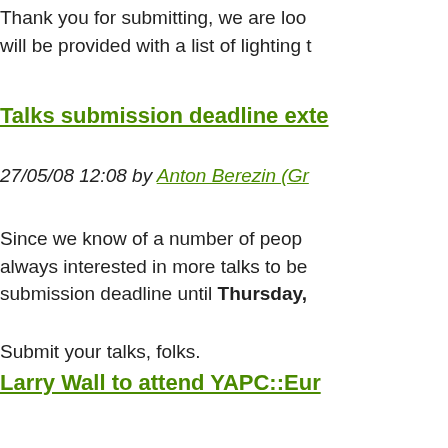Thank you for submitting, we are loo... will be provided with a list of lighting t...
Talks submission deadline exte...
27/05/08 12:08 by Anton Berezin (Gr...
Since we know of a number of people always interested in more talks to be submission deadline until Thursday,
Submit your talks, folks.
Larry Wall to attend YAPC::Eur...
27/05/08 09:44 by jonasbn
We are glad to announce that Larry W...
We hope Larry will share some of his the world in general, but we do not cu...
We are however happy to have him a... YAPC::Europe conference.
Perl 6 Development in Stron...